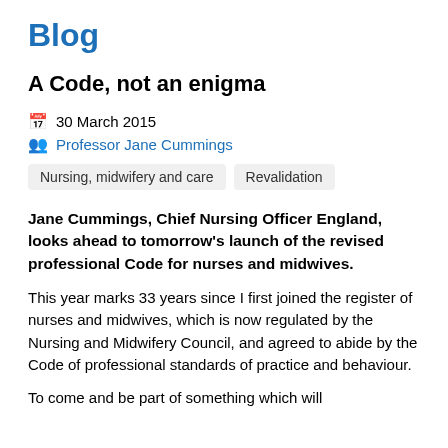Blog
A Code, not an enigma
30 March 2015
Professor Jane Cummings
Nursing, midwifery and care
Revalidation
Jane Cummings, Chief Nursing Officer England, looks ahead to tomorrow's launch of the revised professional Code for nurses and midwives.
This year marks 33 years since I first joined the register of nurses and midwives, which is now regulated by the Nursing and Midwifery Council, and agreed to abide by the Code of professional standards of practice and behaviour.
To come and be part of something which will